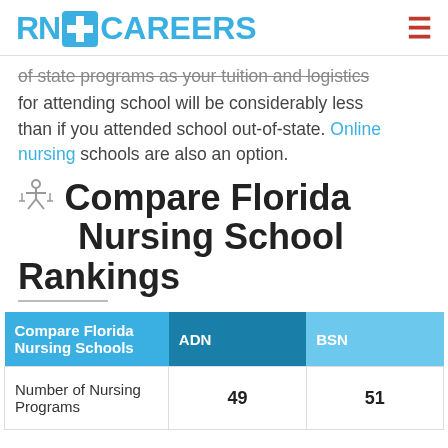RN+ CAREERS
of state programs as your tuition and logistics for attending school will be considerably less than if you attended school out-of-state. Online nursing schools are also an option.
Compare Florida Nursing School Rankings
| Compare Florida Nursing Schools | ADN | BSN |
| --- | --- | --- |
| Number of Nursing Programs | 49 | 51 |